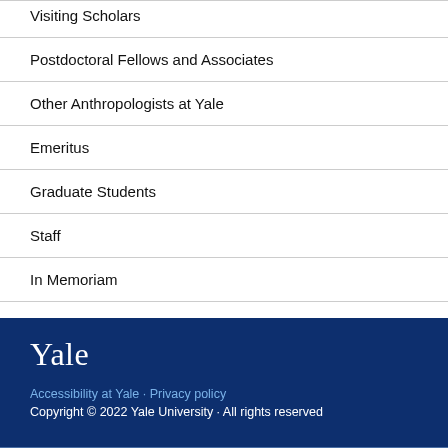Visiting Scholars
Postdoctoral Fellows and Associates
Other Anthropologists at Yale
Emeritus
Graduate Students
Staff
In Memoriam
Yale
Accessibility at Yale · Privacy policy
Copyright © 2022 Yale University · All rights reserved